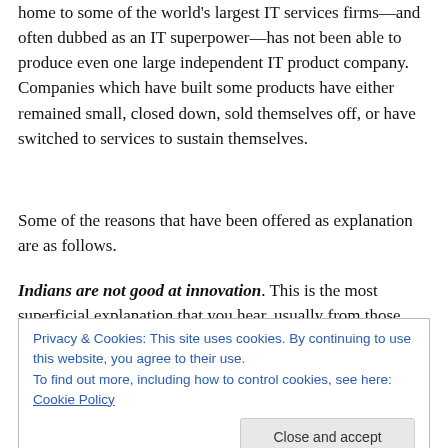home to some of the world's largest IT services firms—and often dubbed as an IT superpower—has not been able to produce even one large independent IT product company. Companies which have built some products have either remained small, closed down, sold themselves off, or have switched to services to sustain themselves.
Some of the reasons that have been offered as explanation are as follows.
Indians are not good at innovation. This is the most superficial explanation that you hear, usually from those
Privacy & Cookies: This site uses cookies. By continuing to use this website, you agree to their use.
To find out more, including how to control cookies, see here: Cookie Policy
solutions as services companies to enterprises do not